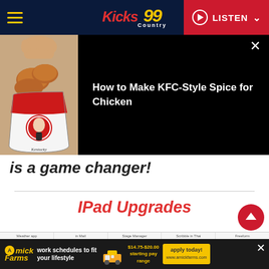Kicks Country 99 | LISTEN
[Figure (screenshot): Video thumbnail overlay showing KFC fried chicken bucket with article title 'How to Make KFC-Style Spice for Chicken' on black background]
is a game changer!
IPad Upgrades
[Figure (screenshot): iPad features strip showing Weather app, Stage Manager, Scribble in Thai, Shared Photo Library, and Freeform app panels]
AmickFarms - work schedules to fit your lifestyle - $14.75-$20.00 starting pay range - apply today!